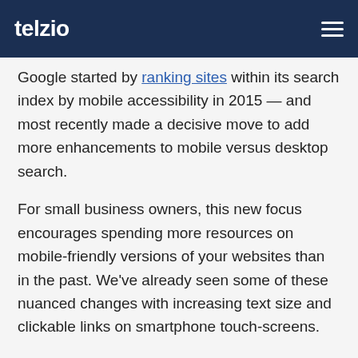telzio
Google started by ranking sites within its search index by mobile accessibility in 2015 — and most recently made a decisive move to add more enhancements to mobile versus desktop search.
For small business owners, this new focus encourages spending more resources on mobile-friendly versions of your websites than in the past. We've already seen some of these nuanced changes with increasing text size and clickable links on smartphone touch-screens.
Developing a Mobile App
In addition to a website, you might also consider developing